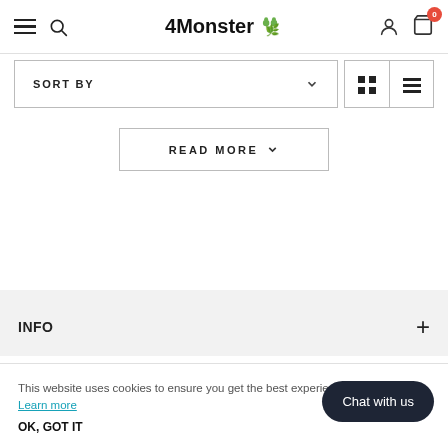4Monster
SORT BY
READ MORE
INFO
This website uses cookies to ensure you get the best experience. Learn more
OK, GOT IT
Chat with us